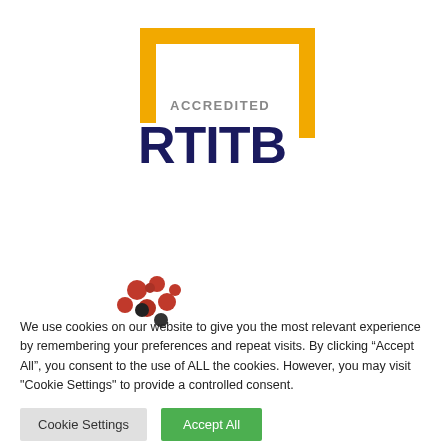[Figure (logo): RTITB Accredited Partner logo: a gold/yellow rectangular border open at the bottom-left, with 'ACCREDITED' in gray text inside, 'RTITB' in large dark navy bold text below, and 'PARTNER' in gray rotated vertically on the right side.]
[Figure (logo): Partial logo with red and black circular dots/bubbles arranged in a cluster, partially visible at the bottom of the upper section.]
We use cookies on our website to give you the most relevant experience by remembering your preferences and repeat visits. By clicking “Accept All”, you consent to the use of ALL the cookies. However, you may visit "Cookie Settings" to provide a controlled consent.
Cookie Settings
Accept All